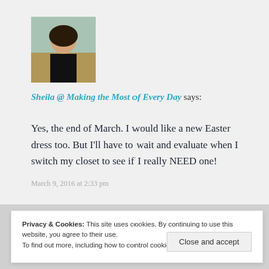[Figure (photo): Profile photo of a woman smiling, outdoors background]
Sheila @ Making the Most of Every Day says:
Yes, the end of March. I would like a new Easter dress too. But I'll have to wait and evaluate when I switch my closet to see if I really NEED one!
March 9, 2016 at 2:33 pm
Privacy & Cookies: This site uses cookies. By continuing to use this website, you agree to their use. To find out more, including how to control cookies, see here: Cookie Policy
Close and accept